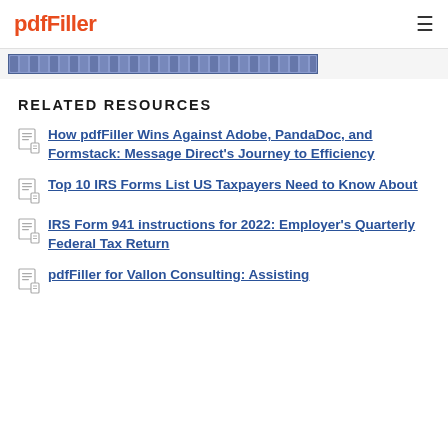pdfFiller
[Figure (screenshot): Partial screenshot of a document/form strip with blue-gray pattern]
RELATED RESOURCES
How pdfFiller Wins Against Adobe, PandaDoc, and Formstack: Message Direct's Journey to Efficiency
Top 10 IRS Forms List US Taxpayers Need to Know About
IRS Form 941 instructions for 2022: Employer's Quarterly Federal Tax Return
pdfFiller for Vallon Consulting: Assisting